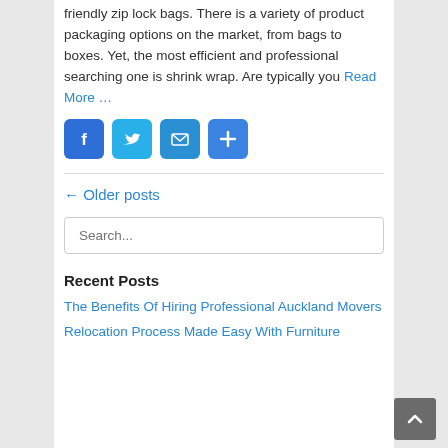friendly zip lock bags. There is a variety of product packaging options on the market, from bags to boxes. Yet, the most efficient and professional searching one is shrink wrap. Are typically you Read More …
[Figure (other): Social sharing icons: Facebook, Twitter, Email, and a plus/share button]
← Older posts
Search...
Recent Posts
The Benefits Of Hiring Professional Auckland Movers
Relocation Process Made Easy With Furniture